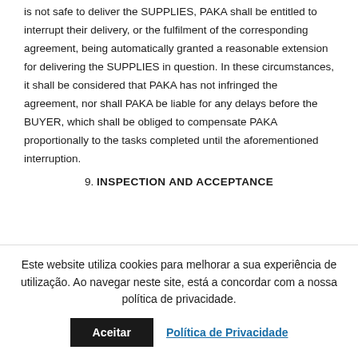is not safe to deliver the SUPPLIES, PAKA shall be entitled to interrupt their delivery, or the fulfilment of the corresponding agreement, being automatically granted a reasonable extension for delivering the SUPPLIES in question. In these circumstances, it shall be considered that PAKA has not infringed the agreement, nor shall PAKA be liable for any delays before the BUYER, which shall be obliged to compensate PAKA proportionally to the tasks completed until the aforementioned interruption.
9. INSPECTION AND ACCEPTANCE
Este website utiliza cookies para melhorar a sua experiência de utilização. Ao navegar neste site, está a concordar com a nossa política de privacidade.
Aceitar
Política de Privacidade